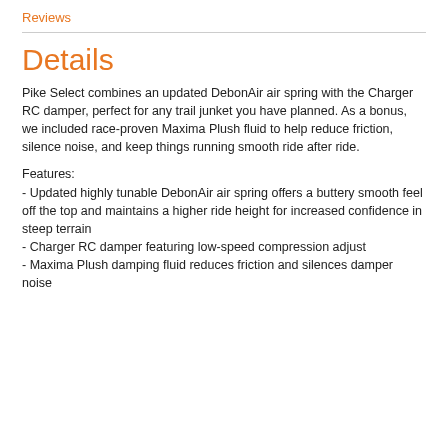Reviews
Details
Pike Select combines an updated DebonAir air spring with the Charger RC damper, perfect for any trail junket you have planned. As a bonus, we included race-proven Maxima Plush fluid to help reduce friction, silence noise, and keep things running smooth ride after ride.
Features:
- Updated highly tunable DebonAir air spring offers a buttery smooth feel off the top and maintains a higher ride height for increased confidence in steep terrain
- Charger RC damper featuring low-speed compression adjust
- Maxima Plush damping fluid reduces friction and silences damper noise